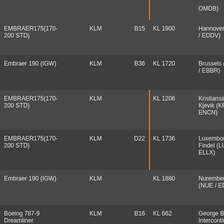| Aircraft | Airline | Gate | Flight | Destination |
| --- | --- | --- | --- | --- |
|  |  |  |  | OMDB) |
| EMBRAER175(170-200 STD) | KLM | B15 | KL 1900 | Hannover (HA / EDDV) |
| Embraer 190 (IGW) | KLM | B36 | KL 1720 | Brussels (BRU / EBBR) |
| EMBRAER175(170-200 STD) | KLM |  | KL 1206 | Kristiansand , Kjevik (KRS / ENCN) |
| EMBRAER175(170-200 STD) | KLM | D22 | KL 1736 | Luxembourg - Findel (LUX / ELLX) |
| Embraer 190 (IGW) | KLM |  | KL 1880 | Nuremberg (NUE / EDDN) |
| Boeing 787-9 Dreamliner | KLM | B16 | KL 662 | George Bush Intercontinental Houston (IAH KIAH) |